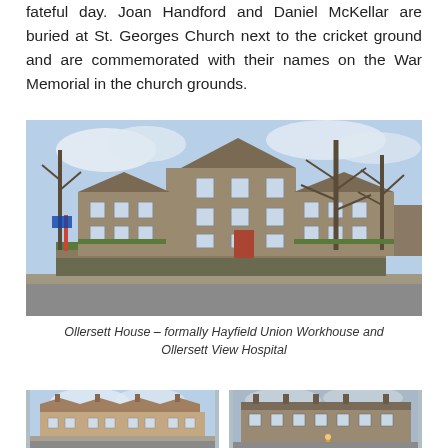fateful day. Joan Handford and Daniel McKellar are buried at St. Georges Church next to the cricket ground and are commemorated with their names on the War Memorial in the church grounds.
[Figure (photo): Photograph of Ollersett House, a large stone multi-storey building with terraced housing, bare trees in foreground, viewed from across a road.]
Ollersett House – formally Hayfield Union Workhouse and Ollersett View Hospital
[Figure (photo): Photograph of a terrace of older stone/brick houses with chimneys, cloudy sky.]
[Figure (photo): Photograph of a row of stone terraced buildings, street view, overcast sky.]